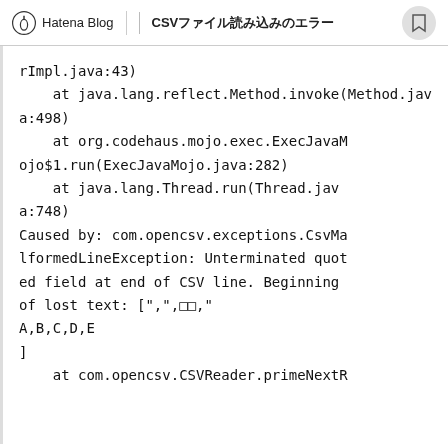Hatena Blog  CSV…
rImpl.java:43)
    at java.lang.reflect.Method.invoke(Method.java:498)
    at org.codehaus.mojo.exec.ExecJavaMojo$1.run(ExecJavaMojo.java:282)
    at java.lang.Thread.run(Thread.java:748)
Caused by: com.opencsv.exceptions.CsvMalformedLineException: Unterminated quoted field at end of CSV line. Beginning of lost text: [",",□□,"
A,B,C,D,E
]
    at com.opencsv.CSVReader.primeNextR